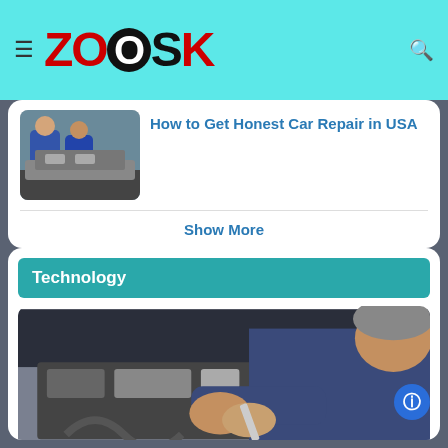Zoosk — navigation bar with logo and hamburger menu
[Figure (photo): Thumbnail photo of mechanics working on a car engine]
How to Get Honest Car Repair in USA
Show More
Technology
[Figure (photo): Photo of a mechanic leaning over a car engine, working with his hands]